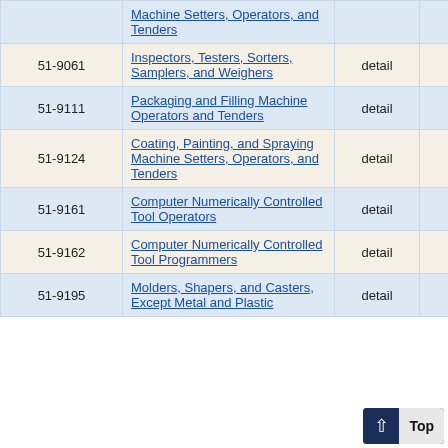| Code | Occupation | Level | Employment |
| --- | --- | --- | --- |
|  | Machine Setters, Operators, and Tenders |  |  |
| 51-9061 | Inspectors, Testers, Sorters, Samplers, and Weighers | detail | 2,680 |
| 51-9111 | Packaging and Filling Machine Operators and Tenders | detail | 1,480 |
| 51-9124 | Coating, Painting, and Spraying Machine Setters, Operators, and Tenders | detail | 820 |
| 51-9161 | Computer Numerically Controlled Tool Operators | detail | 1,050 |
| 51-9162 | Computer Numerically Controlled Tool Programmers | detail | 140 |
| 51-9195 | Molders, Shapers, and Casters, Except Metal and Plastic | detail | 21 |